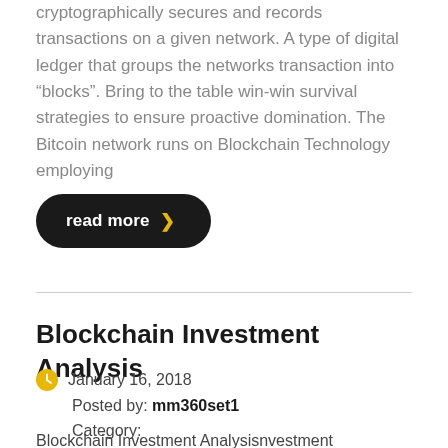cryptographically secures and records transactions on a given network. A type of digital ledger that groups the networks transaction into “blocks”. Bring to the table win-win survival strategies to ensure proactive domination. The Bitcoin network runs on Blockchain Technology employing
read more >
Blockchain Investment Analysis
January 16, 2018
Posted by: mm360set1
Category:
No Comments
Blockchain Investment Analysisvestment Consulting We will